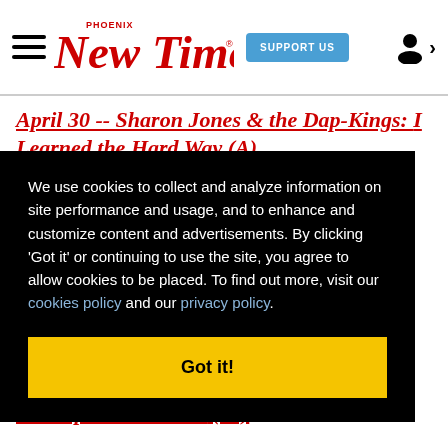Phoenix New Times — SUPPORT US
April 30 -- Sharon Jones & the Dap-Kings: I Learned the Hard Way (A)
We use cookies to collect and analyze information on site performance and usage, and to enhance and customize content and advertisements. By clicking 'Got it' or continuing to use the site, you agree to allow cookies to be placed. To find out more, visit our cookies policy and our privacy policy.
Got it!
ove &
rs in Space and Time (C-)